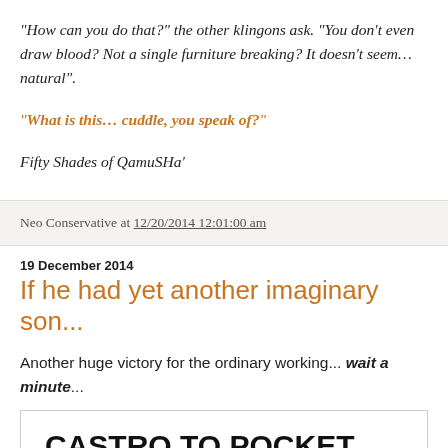"How can you do that?" the other klingons ask. "You don't even draw blood? Not a single furniture breaking? It doesn't seem… natural".
"What is this… cuddle, you speak of?"
Fifty Shades of QamuSHa'
Neo Conservative at 12/20/2014 12:01:00 am
19 December 2014
If he had yet another imaginary son...
Another huge victory for the ordinary working... wait a minute...
CASTRO TO POCKET 92% OF WORKER SALARIES